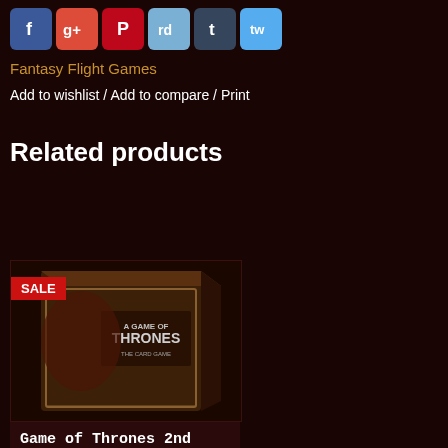[Figure (other): Row of social media icon buttons: Facebook (blue), Google+ (red), Pinterest (red), Reddit (light blue), Tumblr (dark blue), Twitter (light blue)]
Fantasy Flight Games
Add to wishlist / Add to compare / Print
Related products
[Figure (photo): Product image of 'A Game of Thrones The Card Game' box with a SALE badge in the top-left corner]
Game of Thrones 2nd